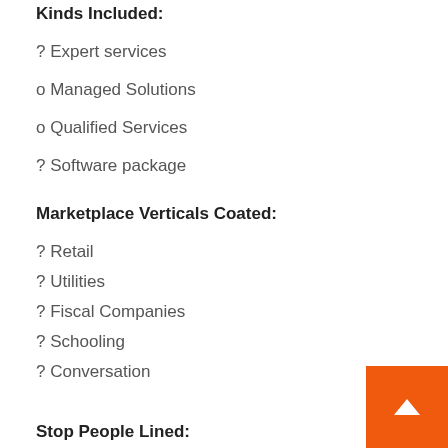Kinds Included:
? Expert services
o Managed Solutions
o Qualified Services
? Software package
Marketplace Verticals Coated:
? Retail
? Utilities
? Fiscal Companies
? Schooling
? Conversation
? Authorities
? Health care
? Vacation and Hospitality
? Other Business Verticals
Stop People Lined: